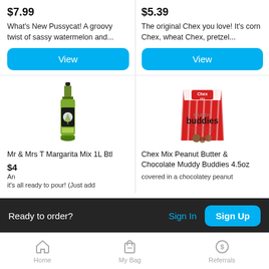$7.99
What's New Pussycat! A groovy twist of sassy watermelon and...
View
[Figure (photo): Mr & Mrs T Margarita Mix 1L bottle, green bottle with black label]
Mr & Mrs T Margarita Mix 1L Btl
$4
An... it's all ready to pour! (Just add
$5.39
The original Chex you love! It's corn Chex, wheat Chex, pretzel...
View
[Figure (photo): Chex Mix Peanut Butter & Chocolate Muddy Buddies 4.5oz bag, red and white packaging]
Chex Mix Peanut Butter & Chocolate Muddy Buddies 4.5oz
covered in a chocolatey peanut
Ready to order? Sign In Sign Up
Home   My Bag   Referrals